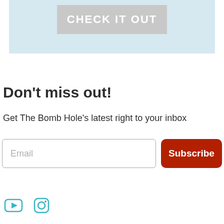[Figure (screenshot): Light blue banner with a gray button labeled CHECK IT OUT]
Don't miss out!
Get The Bomb Hole's latest right to your inbox
[Figure (screenshot): Email input field with placeholder 'Email' and a dark red Subscribe button]
[Figure (other): Social media icons: YouTube play button icon and Instagram camera icon, both in teal/cyan outline style]